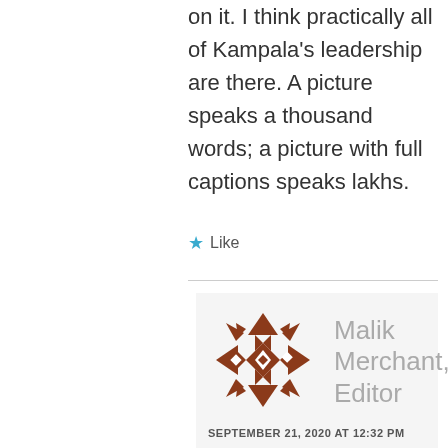on it. I think practically all of Kampala's leadership are there. A picture speaks a thousand words; a picture with full captions speaks lakhs.
★ Like
[Figure (illustration): Decorative geometric pattern avatar in brown/rust color, snowflake-like design with triangles and diamonds]
Malik Merchant, Editor
SEPTEMBER 21, 2020 AT 12:32 PM
Kindly provide the names of all